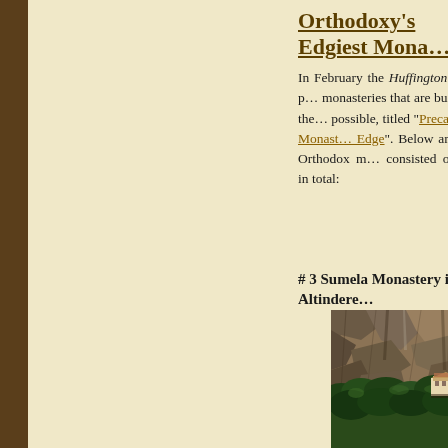Orthodoxy's Edgiest Mona…
In February the Huffington Post published monasteries that are built on the most precarious possible, titled "Precarious Monasteries on the Edge". Below are the Orthodox monasteries consisted of six in total:
# 3 Sumela Monastery in Altindere…
[Figure (photo): Photograph of Sumela Monastery built into a steep rocky cliff face surrounded by dense green forest vegetation]